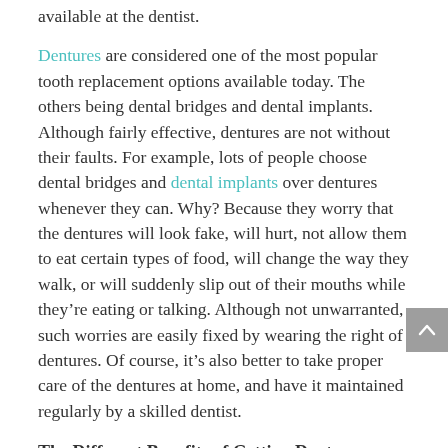available at the dentist.
Dentures are considered one of the most popular tooth replacement options available today. The others being dental bridges and dental implants. Although fairly effective, dentures are not without their faults. For example, lots of people choose dental bridges and dental implants over dentures whenever they can. Why? Because they worry that the dentures will look fake, will hurt, not allow them to eat certain types of food, will change the way they walk, or will suddenly slip out of their mouths while they’re eating or talking. Although not unwarranted, such worries are easily fixed by wearing the right of dentures. Of course, it’s also better to take proper care of the dentures at home, and have it maintained regularly by a skilled dentist.
The Different Benefits of Getting Dentures